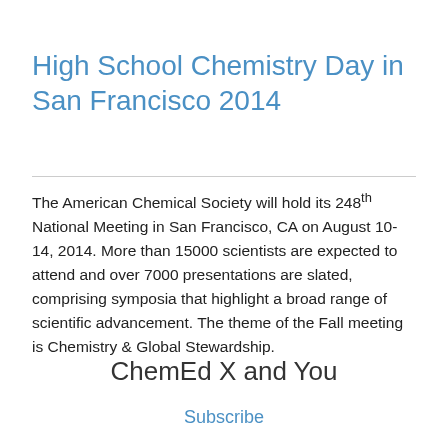High School Chemistry Day in San Francisco 2014
The American Chemical Society will hold its 248th National Meeting in San Francisco, CA on August 10-14, 2014. More than 15000 scientists are expected to attend and over 7000 presentations are slated, comprising symposia that highlight a broad range of scientific advancement. The theme of the Fall meeting is Chemistry & Global Stewardship.
ChemEd X and You
Subscribe